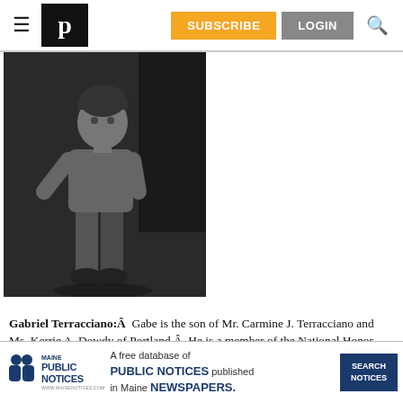≡  P  SUBSCRIBE  LOGIN  🔍
[Figure (photo): Black and white photo of a young man wearing a baseball cap, sitting casually outdoors]
Gabriel Terracciano:Â  Gabe is the son of Mr. Carmine J. Terracciano and Ms. Kerrie A. Dowdy of Portland.Â  He is a member of the National Honor Society, received the President Educational Award, and graduated Summa cum Laude.Â  He received an Academic Excellence Medal in Music, a Bronze A in Academic Computing Essentials, and received the National School Orchestra Award.Â  Gabe was a member of the Haiti Solidarity Club and the Debate Team. He received the St. Tho University Book Award last fall.Â  He is one a very few stude the world selected for the combined degree program at Tufts University and The New England Conservatory.Â
[Figure (infographic): Maine Public Notices advertisement: A free database of PUBLIC NOTICES published in Maine NEWSPAPERS. SEARCH NOTICES button.]